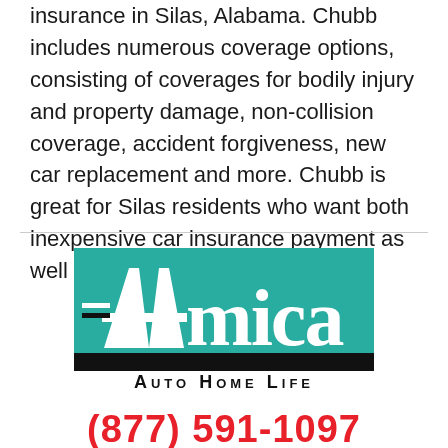insurance in Silas, Alabama. Chubb includes numerous coverage options, consisting of coverages for bodily injury and property damage, non-collision coverage, accident forgiveness, new car replacement and more. Chubb is great for Silas residents who want both inexpensive car insurance payment as well excellent coverage.
[Figure (logo): Amica Mutual Insurance logo — teal/green rectangle with white 'Amica' text and a stylized 'A' with horizontal lines, black bar at bottom, 'AUTO HOME LIFE' in small caps below]
(877) 591-1097